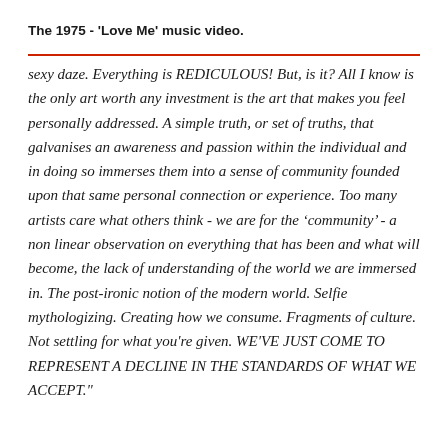The 1975 - 'Love Me' music video.
sexy daze. Everything is REDICULOUS! But, is it? All I know is the only art worth any investment is the art that makes you feel personally addressed. A simple truth, or set of truths, that galvanises an awareness and passion within the individual and in doing so immerses them into a sense of community founded upon that same personal connection or experience. Too many artists care what others think - we are for the ‘community’ - a non linear observation on everything that has been and what will become, the lack of understanding of the world we are immersed in. The post-ironic notion of the modern world. Selfie mythologizing. Creating how we consume. Fragments of culture. Not settling for what you're given. WE'VE JUST COME TO REPRESENT A DECLINE IN THE STANDARDS OF WHAT WE ACCEPT."